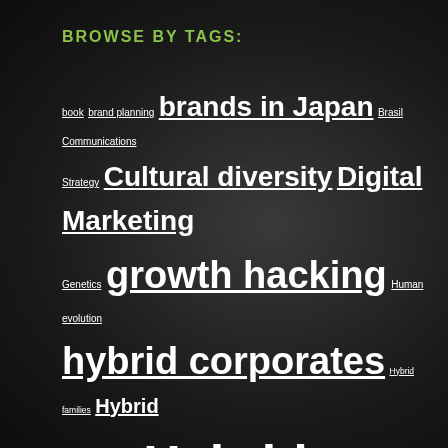BROWSE BY TAGS:
book brand planning brands in Japan Brasil Communications Strategy Cultural diversity Digital Marketing Genetics growth hacking Human evolution hybrid corporates Hybrid families Hybrid products Hybrid teams Hybrid technologies Japan's future Japan digital Japan investment nuclear energy Nurturing innovation People Personal experience Profero Tokyo psychology Silicon Valley Talks & lectures